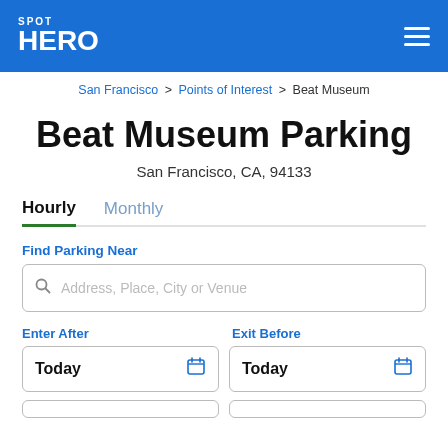SPOT HERO
San Francisco > Points of Interest > Beat Museum
Beat Museum Parking
San Francisco, CA, 94133
Hourly   Monthly
Find Parking Near
Address, Place, City or Venue
Enter After
Exit Before
Today
Today